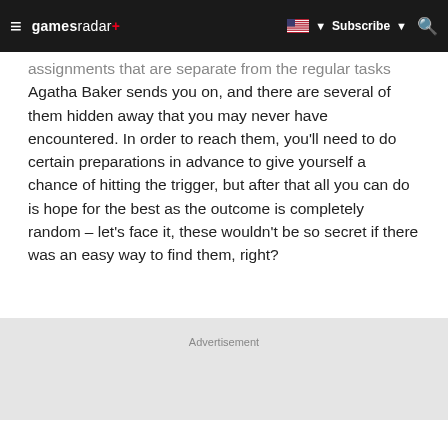≡ gamesradar+ [flag] ▼ Subscribe ▼ 🔍
assignments that are separate from the regular tasks Agatha Baker sends you on, and there are several of them hidden away that you may never have encountered. In order to reach them, you'll need to do certain preparations in advance to give yourself a chance of hitting the trigger, but after that all you can do is hope for the best as the outcome is completely random – let's face it, these wouldn't be so secret if there was an easy way to find them, right?
Advertisement